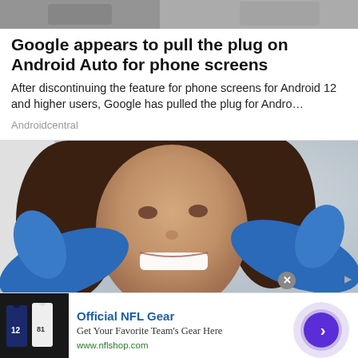[Figure (photo): Top portion of an article image, partially visible at the top of the page]
Google appears to pull the plug on Android Auto for phone screens
After discontinuing the feature for phone screens for Android 12 and higher users, Google has pulled the plug for Andro…
Androidcentral
[Figure (photo): A smiling woman in a dental chair with blue-gloved hands examining her teeth; a white-coated figure is partially visible on the left]
[Figure (photo): Advertisement: Official NFL Gear - image of NFL jerseys including a Patriots jersey]
Official NFL Gear
Get Your Favorite Team's Gear Here
www.nflshop.com